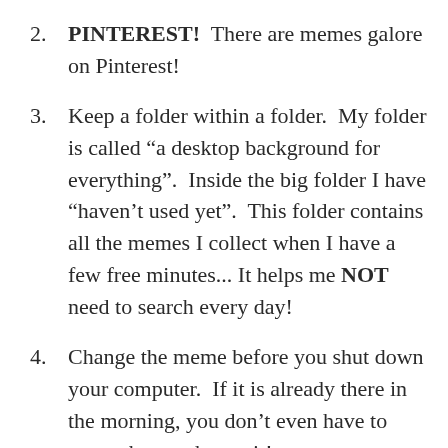2. PINTEREST!  There are memes galore on Pinterest!
3. Keep a folder within a folder.  My folder is called “a desktop background for everything”.  Inside the big folder I have “haven’t used yet”.  This folder contains all the memes I collect when I have a few free minutes... It helps me NOT need to search every day!
4. Change the meme before you shut down your computer.  If it is already there in the morning, you don’t even have to remember to change it!